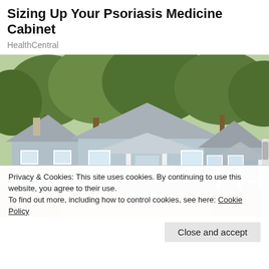Sizing Up Your Psoriasis Medicine Cabinet
HealthCentral
[Figure (photo): Photograph of small cottage-style houses with white porches and railings, surrounded by trees, with a concrete driveway in front.]
Privacy & Cookies: This site uses cookies. By continuing to use this website, you agree to their use.
To find out more, including how to control cookies, see here: Cookie Policy
Close and accept